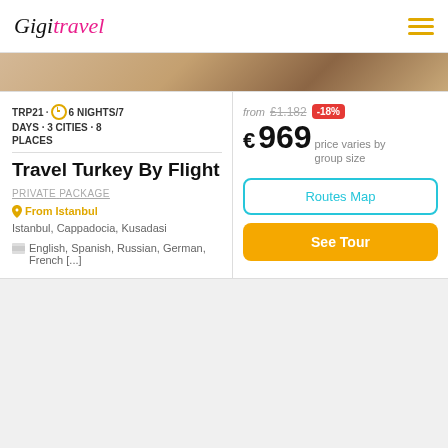Gigi Travel
[Figure (photo): Partial view of a travel destination photo strip]
TRP21 · 6 NIGHTS/7 DAYS · 3 CITIES · 8 PLACES
Travel Turkey By Flight
PRIVATE PACKAGE
From Istanbul
Istanbul, Cappadocia, Kusadasi
English, Spanish, Russian, German, French [...]
from £1,182 -18%
€969 price varies by group size
Routes Map
See Tour